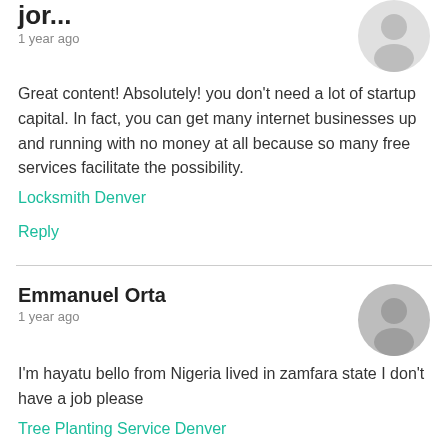jor...
1 year ago
Great content! Absolutely! you don't need a lot of startup capital. In fact, you can get many internet businesses up and running with no money at all because so many free services facilitate the possibility.
Locksmith Denver
Reply
Emmanuel Orta
1 year ago
I'm hayatu bello from Nigeria lived in zamfara state I don't have a job please
Tree Planting Service Denver